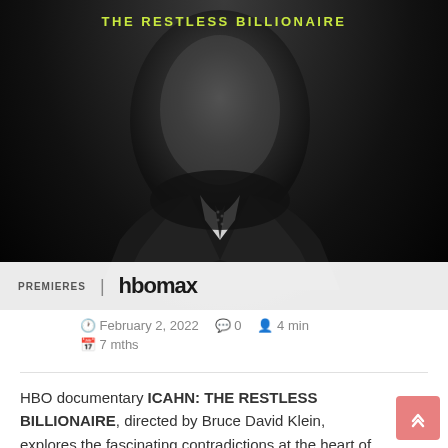[Figure (photo): Black and white promotional poster for HBO documentary 'ICAHN: THE RESTLESS BILLIONAIRE' showing a close-up of a man in a suit and tie. Text at top reads 'THE RESTLESS BILLIONAIRE' in yellow-green. Bottom shows 'PREMIERES | HBO MAX' banner.]
February 2, 2022   0   4 min
7 mths
HBO documentary ICAHN: THE RESTLESS BILLIONAIRE, directed by Bruce David Klein, explores the fascinating contradictions at the heart of the famed financier, Carl Icahn. Amassing close